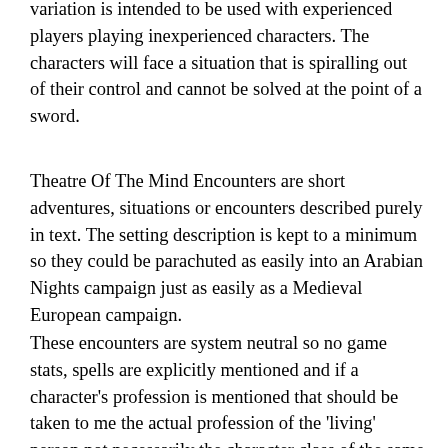variation is intended to be used with experienced players playing inexperienced characters. The characters will face a situation that is spiralling out of their control and cannot be solved at the point of a sword.
Theatre Of The Mind Encounters are short adventures, situations or encounters described purely in text. The setting description is kept to a minimum so they could be parachuted as easily into an Arabian Nights campaign just as easily as a Medieval European campaign.
These encounters are system neutral so no game stats, spells are explicitly mentioned and if a character's profession is mentioned that should be taken to me the actual profession of the 'living' person not necessarily the character class of the same name if it exists. By that I mean if I mention a thief then I just mean someone who steals something not an NPC of the thief character class and all the associated skills and abilities. That does not mean that they are not of that class or profession. That is